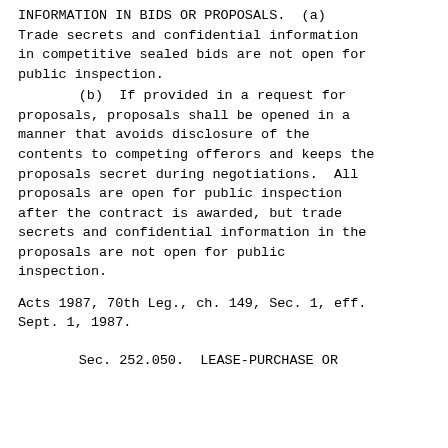INFORMATION IN BIDS OR PROPOSALS.  (a) Trade secrets and confidential information in competitive sealed bids are not open for public inspection.
(b)  If provided in a request for proposals, proposals shall be opened in a manner that avoids disclosure of the contents to competing offerors and keeps the proposals secret during negotiations.  All proposals are open for public inspection after the contract is awarded, but trade secrets and confidential information in the proposals are not open for public inspection.
Acts 1987, 70th Leg., ch. 149, Sec. 1, eff. Sept. 1, 1987.
Sec. 252.050.  LEASE-PURCHASE OR